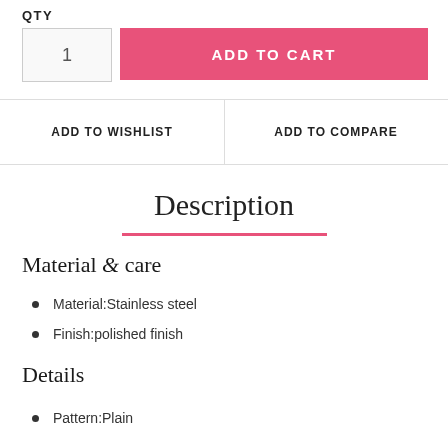QTY
1
ADD TO CART
ADD TO WISHLIST
ADD TO COMPARE
Description
Material & care
Material:Stainless steel
Finish:polished finish
Details
Pattern:Plain